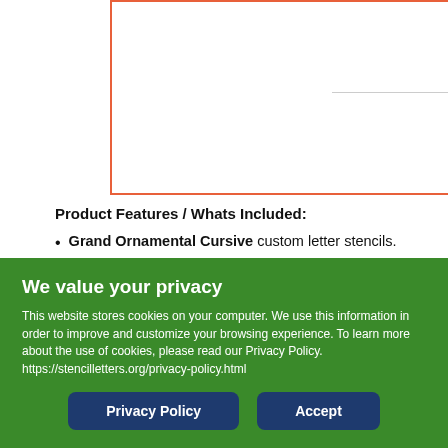[Figure (other): Orange-bordered product image box, partially visible at top of page]
Product Features / Whats Included:
Grand Ornamental Cursive custom letter stencils.
Clear legibility.
Custom stencils are reusable. Cut from top quality film material.
Safe to use / non-toxic.
A preview of your custom stencil will be sent to you.
We value your privacy
This website stores cookies on your computer. We use this information in order to improve and customize your browsing experience. To learn more about the use of cookies, please read our Privacy Policy. https://stencilletters.org/privacy-policy.html
Privacy Policy | Accept